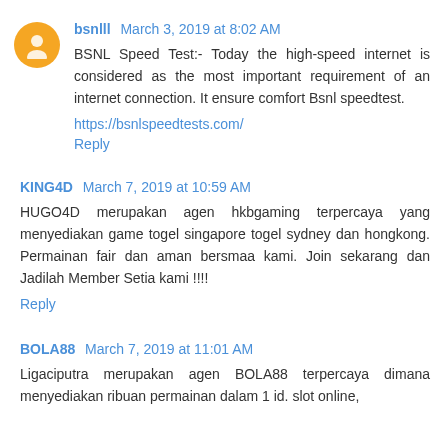bsnlll  March 3, 2019 at 8:02 AM
BSNL Speed Test:- Today the high-speed internet is considered as the most important requirement of an internet connection. It ensure comfort Bsnl speedtest.
https://bsnlspeedtests.com/
Reply
KING4D  March 7, 2019 at 10:59 AM
HUGO4D merupakan agen hkbgaming terpercaya yang menyediakan game togel singapore togel sydney dan hongkong. Permainan fair dan aman bersmaa kami. Join sekarang dan Jadilah Member Setia kami !!!!
Reply
BOLA88  March 7, 2019 at 11:01 AM
Ligaciputra merupakan agen BOLA88 terpercaya dimana menyediakan ribuan permainan dalam 1 id. slot online,